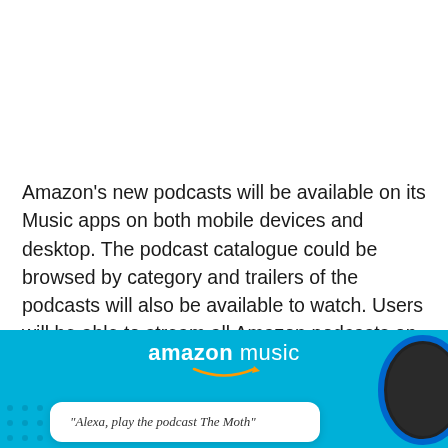Amazon's new podcasts will be available on its Music apps on both mobile devices and desktop. The podcast catalogue could be browsed by category and trailers of the podcasts will also be available to watch. Users will be able to stream all Amazon podcasts on Alexa devices as well.
[Figure (illustration): Amazon Music promotional image with light blue background showing the Amazon Music logo with smile arrow, a white speech bubble with italic text 'Alexa, play the podcast The Moth', and a partial view of a dark Echo device with blue ring on the right side.]